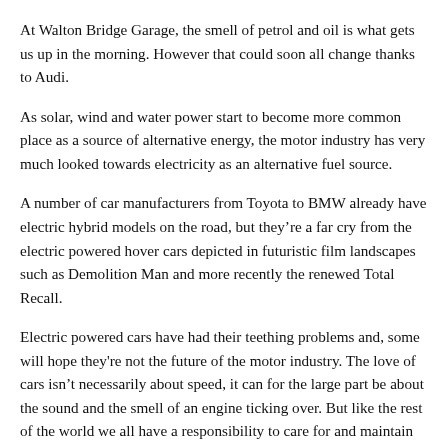At Walton Bridge Garage, the smell of petrol and oil is what gets us up in the morning. However that could soon all change thanks to Audi.
As solar, wind and water power start to become more common place as a source of alternative energy, the motor industry has very much looked towards electricity as an alternative fuel source.
A number of car manufacturers from Toyota to BMW already have electric hybrid models on the road, but they’re a far cry from the electric powered hover cars depicted in futuristic film landscapes such as Demolition Man and more recently the renewed Total Recall.
Electric powered cars have had their teething problems and, some will hope they're not the future of the motor industry. The love of cars isn’t necessarily about speed, it can for the large part be about the sound and the smell of an engine ticking over. But like the rest of the world we all have a responsibility to care for and maintain our environment, something motor cars and the fuel they run on don’t.
This could all be about to change as Audi announce the creation of a synthetic fuel, done so without the use of petrol. It’s called e